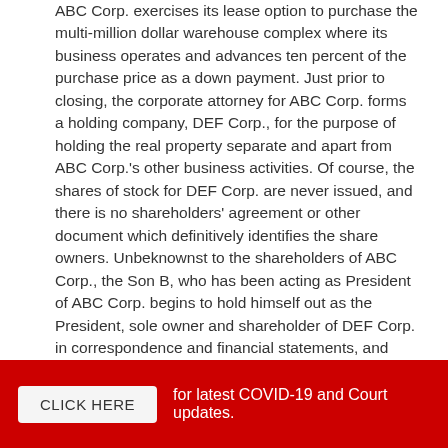ABC Corp. exercises its lease option to purchase the multi-million dollar warehouse complex where its business operates and advances ten percent of the purchase price as a down payment. Just prior to closing, the corporate attorney for ABC Corp. forms a holding company, DEF Corp., for the purpose of holding the real property separate and apart from ABC Corp.'s other business activities. Of course, the shares of stock for DEF Corp. are never issued, and there is no shareholders' agreement or other document which definitively identifies the share owners. Unbeknownst to the shareholders of ABC Corp., the Son B, who has been acting as President of ABC Corp. begins to hold himself out as the President, sole owner and shareholder of DEF Corp. in correspondence and financial statements, and files tax returns on behalf of DEF Corp., in which he indicates that he is the sole shareholder. When confronted, Son B refuses to acknowledge the other family members as owners of DEF Corp. and claims that it was the understanding in the family that he would be the sole owner of the warehouse complex, despite ABC Corp. paying the down payment and mortgage on the property. One can easily imagine that besides the raging indigestion at the next family Thanksgiving dinner, the substantial financial cost to unscramble this matter through the court
CLICK HERE   for latest COVID-19 and Court updates.